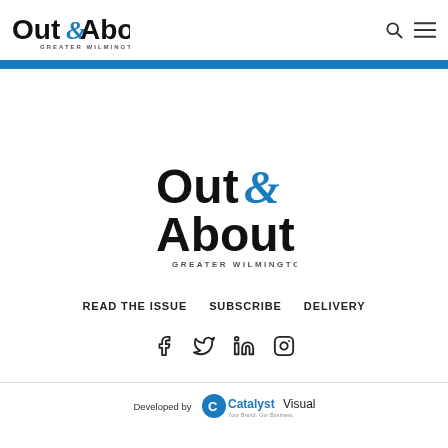Out & About Greater Wilmington
[Figure (logo): Out & About Greater Wilmington logo, centered, large version with black text and blue ampersand]
READ THE ISSUE   SUBSCRIBE   DELIVERY
[Figure (illustration): Social media icons: Facebook, Twitter, LinkedIn, Instagram]
Developed by Catalyst Visuals